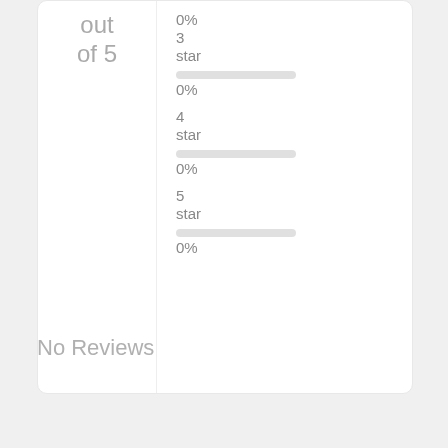out of 5
0%
3 star
0%
4 star
0%
5 star
0%
No Reviews